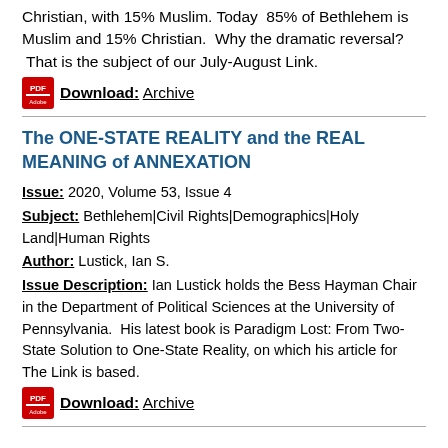Christian, with 15% Muslim. Today 85% of Bethlehem is Muslim and 15% Christian. Why the dramatic reversal? That is the subject of our July-August Link.
Download: Archive
The ONE-STATE REALITY and the REAL MEANING of ANNEXATION
Issue: 2020, Volume 53, Issue 4
Subject: Bethlehem|Civil Rights|Demographics|Holy Land|Human Rights
Author: Lustick, Ian S.
Issue Description: Ian Lustick holds the Bess Hayman Chair in the Department of Political Sciences at the University of Pennsylvania. His latest book is Paradigm Lost: From Two-State Solution to One-State Reality, on which his article for The Link is based.
Download: Archive